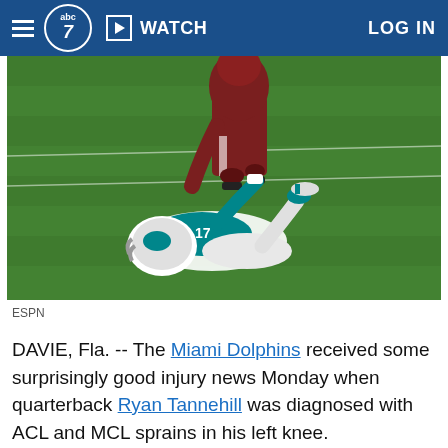abc7 | WATCH | LOG IN
[Figure (photo): NFL football player in Miami Dolphins teal uniform (quarterback) lying on the green field turf, with an Arizona Cardinals player in dark red uniform standing over him. The Dolphins player appears injured on the ground.]
ESPN
DAVIE, Fla. -- The Miami Dolphins received some surprisingly good injury news Monday when quarterback Ryan Tannehill was diagnosed with ACL and MCL sprains in his left knee.